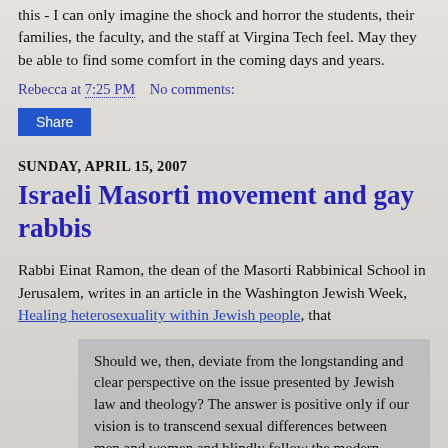this - I can only imagine the shock and horror the students, their families, the faculty, and the staff at Virgina Tech feel. May they be able to find some comfort in the coming days and years.
Rebecca at 7:25 PM   No comments:
Share
SUNDAY, APRIL 15, 2007
Israeli Masorti movement and gay rabbis
Rabbi Einat Ramon, the dean of the Masorti Rabbinical School in Jerusalem, writes in an article in the Washington Jewish Week, Healing heterosexuality within Jewish people, that
Should we, then, deviate from the longstanding and clear perspective on the issue presented by Jewish law and theology? The answer is positive only if our vision is to transcend sexual differences between men and women and blindly follow the modern reality and ideology of gender and family fluidity. As long as